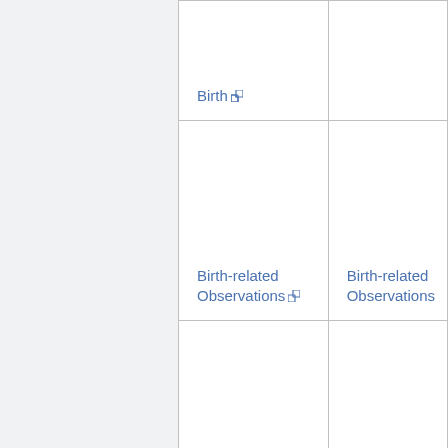| Resource | Profile |
| --- | --- |
| Birth [external link] |  |
| Birth-related Observations [external link] | Birth-related Observations |
| Child [external link] |  |
|  |  |